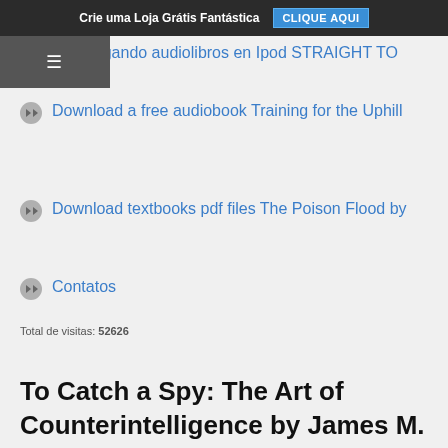Crie uma Loja Grátis Fantástica  CLIQUE AQUI
Descargando audiolibros en Ipod STRAIGHT TO
Download a free audiobook Training for the Uphill
Download textbooks pdf files The Poison Flood by
Contatos
Total de visitas: 52626
To Catch a Spy: The Art of Counterintelligence by James M. Olson